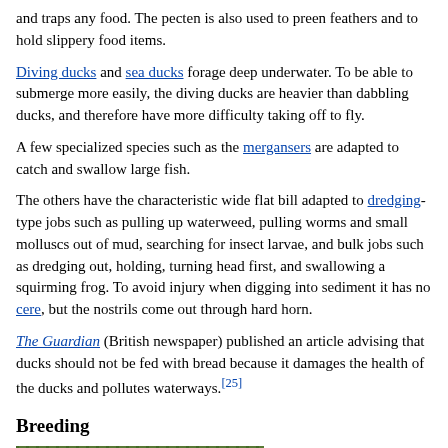and traps any food. The pecten is also used to preen feathers and to hold slippery food items.
Diving ducks and sea ducks forage deep underwater. To be able to submerge more easily, the diving ducks are heavier than dabbling ducks, and therefore have more difficulty taking off to fly.
A few specialized species such as the mergansers are adapted to catch and swallow large fish.
The others have the characteristic wide flat bill adapted to dredging-type jobs such as pulling up waterweed, pulling worms and small molluscs out of mud, searching for insect larvae, and bulk jobs such as dredging out, holding, turning head first, and swallowing a squirming frog. To avoid injury when digging into sediment it has no cere, but the nostrils come out through hard horn.
The Guardian (British newspaper) published an article advising that ducks should not be fed with bread because it damages the health of the ducks and pollutes waterways.[25]
Breeding
[Figure (photo): Photo of ducks or duck habitat, showing green vegetation/foliage at the bottom of the page.]